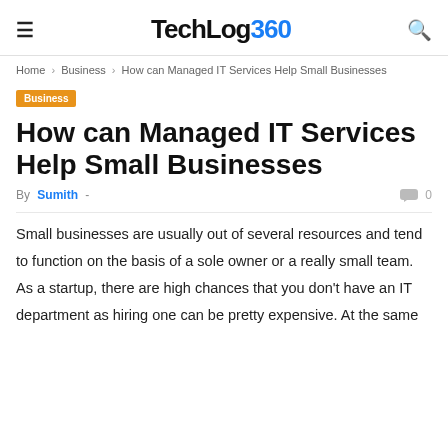TechLog360
Home › Business › How can Managed IT Services Help Small Businesses
Business
How can Managed IT Services Help Small Businesses
By Sumith - 0
Small businesses are usually out of several resources and tend to function on the basis of a sole owner or a really small team. As a startup, there are high chances that you don't have an IT department as hiring one can be pretty expensive. At the same